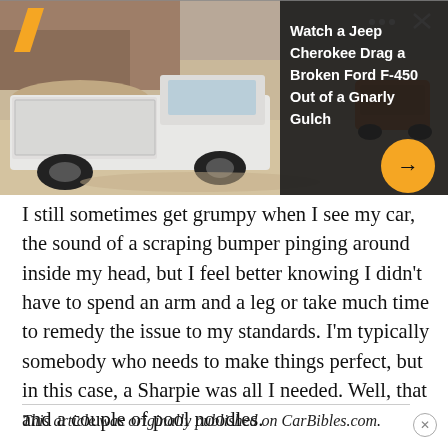[Figure (photo): Outdoor scene showing a white pickup truck (Ford F-450 style work truck) in a rocky gulch, with an orange vehicle visible in background. Overlay panel shows a related article title 'Watch a Jeep Cherokee Drag a Broken Ford F-450 Out of a Gnarly Gulch' on dark background. Orange arrow button visible. Orange slash logo top-left.]
I still sometimes get grumpy when I see my car, the sound of a scraping bumper pinging around inside my head, but I feel better knowing I didn't have to spend an arm and a leg or take much time to remedy the issue to my standards. I'm typically somebody who needs to make things perfect, but in this case, a Sharpie was all I needed. Well, that and a couple of pool noodles.
This article was originally published on CarBibles.com.